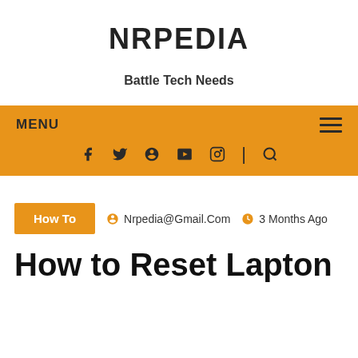NRPEDIA
Battle Tech Needs
MENU  ≡  f  t  ⊕  ▶  ○  |  🔍
How To  |  Nrpedia@Gmail.Com  |  3 Months Ago
How to Reset Laptop